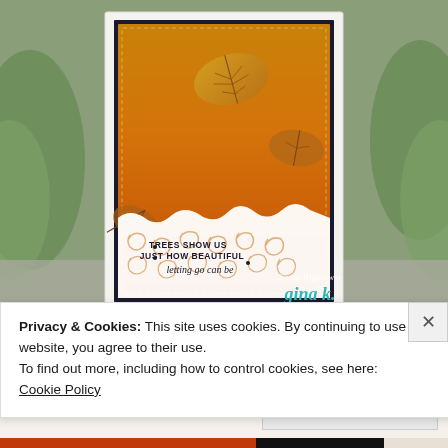[Figure (photo): Handmade autumn greeting card with orange gradient background, stamped leaf designs in gold/brown tones, a torn decorative white paper layer with flourish pattern at the bottom, and text reading 'TREES SHOW US JUST HOW BEAUTIFUL letting go can be'. Card is attributed to Karen Hightower and Gina K. brands.]
Privacy & Cookies: This site uses cookies. By continuing to use this website, you agree to their use.
To find out more, including how to control cookies, see here:
Cookie Policy
Close and accept